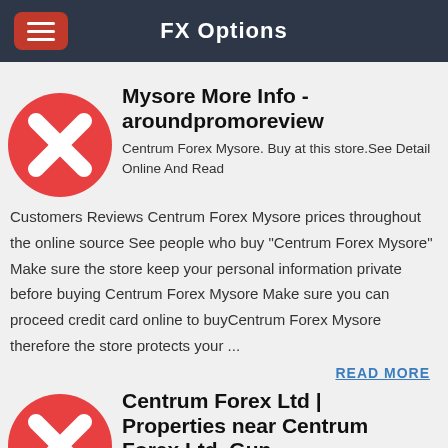FX Options
Mysore More Info - aroundpromoreview
Centrum Forex Mysore. Buy at this store.See Detail Online And Read Customers Reviews Centrum Forex Mysore prices throughout the online source See people who buy "Centrum Forex Mysore" Make sure the store keep your personal information private before buying Centrum Forex Mysore Make sure you can proceed credit card online to buyCentrum Forex Mysore therefore the store protects your ...
READ MORE
Centrum Forex Ltd | Properties near Centrum Forex Ltd, Gun